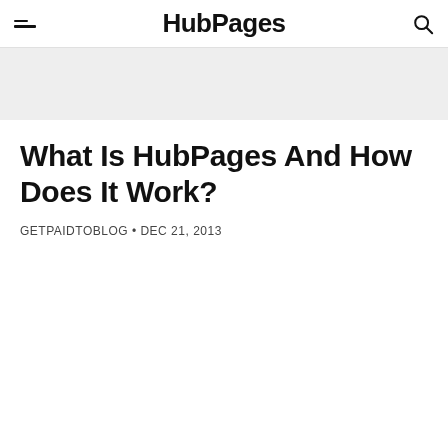HubPages
[Figure (other): Gray banner/advertisement area]
What Is HubPages And How Does It Work?
GETPAIDTOBLOG • DEC 21, 2013